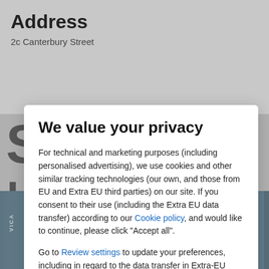Address
2c Canterbury Street
[Figure (screenshot): Background screenshot of a real estate website showing aerial photo of houses below, with a grey overlay and a pink circular scroll-up button]
We value your privacy
For technical and marketing purposes (including personalised advertising), we use cookies and other similar tracking technologies (our own, and those from EU and Extra EU third parties) on our site. If you consent to their use (including the Extra EU data transfer) according to our Cookie policy, and would like to continue, please click "Accept all".
Go to Review settings to update your preferences, including in regard to the data transfer in Extra-EU countries, or click here to continue without non mandatory cookies.
ACCEPT ALL